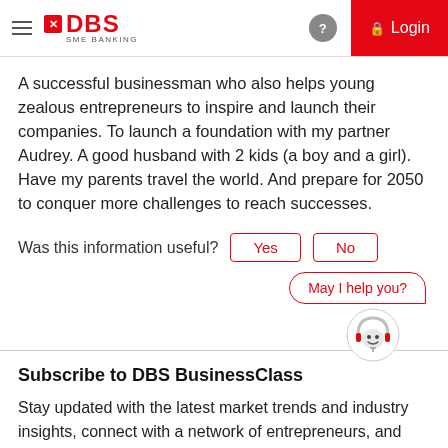DBS SME BANKING — Login
A successful businessman who also helps young zealous entrepreneurs to inspire and launch their companies. To launch a foundation with my partner Audrey. A good husband with 2 kids (a boy and a girl). Have my parents travel the world. And prepare for 2050 to conquer more challenges to reach successes.
Was this information useful?  Yes  No
May I help you?
Subscribe to DBS BusinessClass
Stay updated with the latest market trends and industry insights, connect with a network of entrepreneurs, and gain access to exclusive event